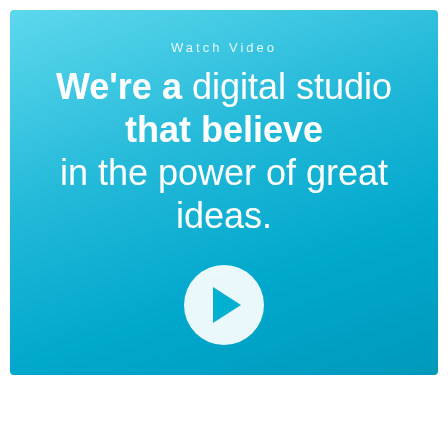[Figure (screenshot): Video thumbnail/call-to-action block with cyan-to-teal gradient background. Contains 'Watch Video' label text, headline text 'We're a digital studio that believe in the power of great ideas.' and a circular white play button icon.]